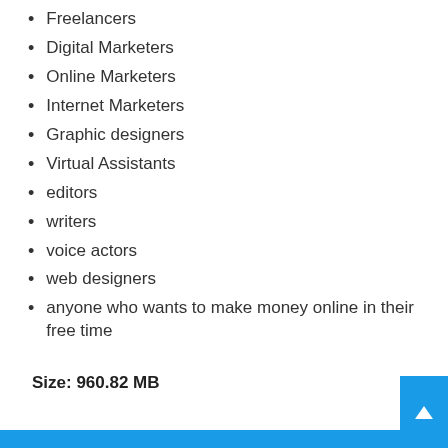Freelancers
Digital Marketers
Online Marketers
Internet Marketers
Graphic designers
Virtual Assistants
editors
writers
voice actors
web designers
anyone who wants to make money online in their free time
Size: 960.82 MB